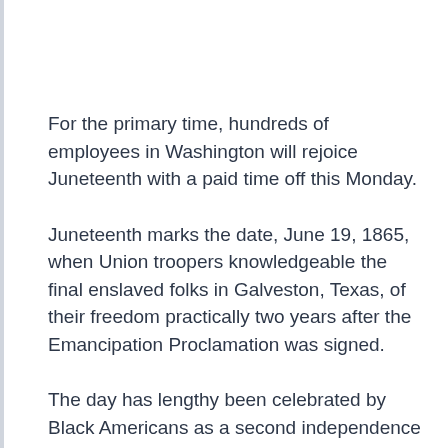For the primary time, hundreds of employees in Washington will rejoice Juneteenth with a paid time off this Monday.
Juneteenth marks the date, June 19, 1865, when Union troopers knowledgeable the final enslaved folks in Galveston, Texas, of their freedom practically two years after the Emancipation Proclamation was signed.
The day has lengthy been celebrated by Black Americans as a second independence day, however solely in June 2021 did the federal authorities declare Juneteenth a nationwide vacation. Gov. Jay Inslee made the vacation